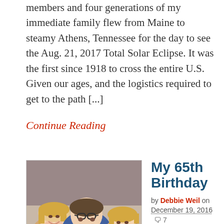members and four generations of my immediate family flew from Maine to steamy Athens, Tennessee for the day to see the Aug. 21, 2017 Total Solar Eclipse. It was the first since 1918 to cross the entire U.S. Given our ages, and the logistics required to get to the path [...]
Continue Reading
[Figure (photo): Selfie photo of three people smiling — two women and a man wearing glasses, indoors]
My 65th Birthday
by Debbie Weil on December 19, 2016 💬 7
I dreaded it for months. But my 65th birthday came and went a week ago and life is still good. Grand, in fact. Despite recurrent depression, despite self esteem issues, despite everything about myself that I'd like to change, I am so looking forward to what lies ahead. Why do artificial